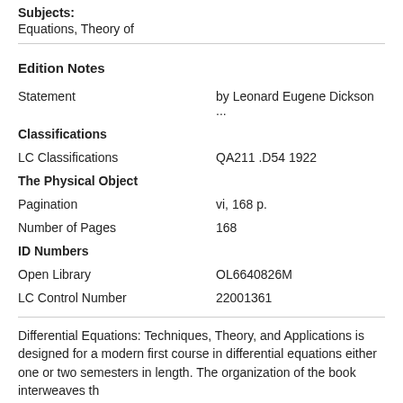Subjects: Equations, Theory of
Edition Notes
| Field | Value |
| --- | --- |
| Statement | by Leonard Eugene Dickson ... |
| Classifications |  |
| LC Classifications | QA211 .D54 1922 |
| The Physical Object |  |
| Pagination | vi, 168 p. |
| Number of Pages | 168 |
| ID Numbers |  |
| Open Library | OL6640826M |
| LC Control Number | 22001361 |
Differential Equations: Techniques, Theory, and Applications is designed for a modern first course in differential equations either one or two semesters in length. The organization of the book interweaves th...